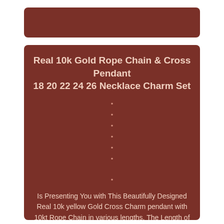Real 10k Gold Rope Chain & Cross Pendant 18 20 22 24 26 Necklace Charm Set
•
•
•
•
•
•
•
Is Presenting You with This Beautifully Designed Real 10k yellow Gold Cross Charm pendant with 10kt Rope Chain in various lengths. The Length of the charm is 1 inch approx. The Weight on the charm is 2.3 Grams approx.
The Length of The Chain are 18", 20", 22", 24", 26"